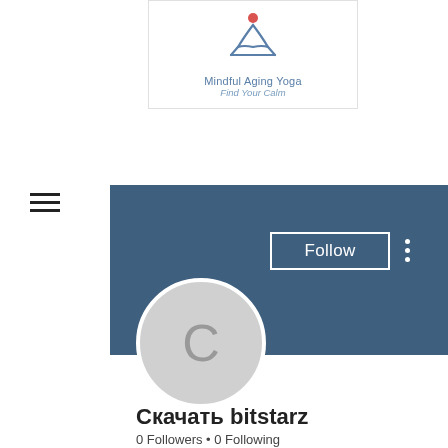[Figure (logo): Mindful Aging Yoga logo with stylized meditation figure and red dot, tagline 'Find Your Calm']
[Figure (screenshot): User profile page: blue banner, avatar with letter C, Follow button, three-dot menu]
Скачать bitstarz
0 Followers • 0 Following
Profile
Join date: Jun 22, 2022